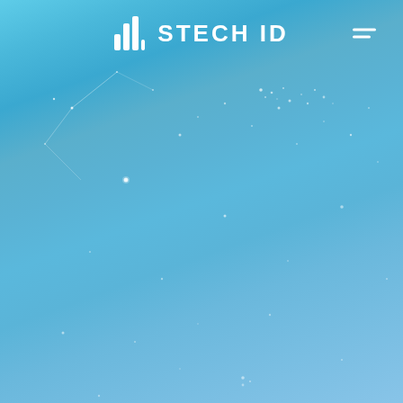[Figure (screenshot): Website header screenshot showing STECH ID logo with bar chart icon on a blue gradient background with particle/starfield effect and a hamburger menu icon in the top right.]